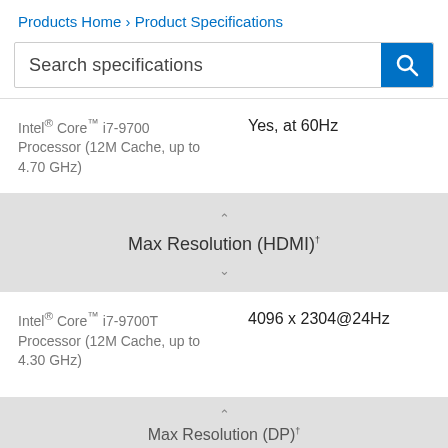Products Home › Product Specifications
Search specifications
Intel® Core™ i7-9700 Processor (12M Cache, up to 4.70 GHz) — Yes, at 60Hz
Max Resolution (HDMI)†
Intel® Core™ i7-9700T Processor (12M Cache, up to 4.30 GHz) — 4096 x 2304@24Hz
Intel® Core™ i7-9700 Processor (12M Cache, up to 4.70 GHz) — 4096 x 2304@24Hz
Max Resolution (DP)†